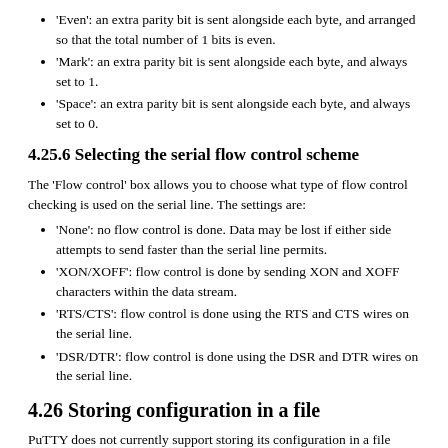'Even': an extra parity bit is sent alongside each byte, and arranged so that the total number of 1 bits is even.
'Mark': an extra parity bit is sent alongside each byte, and always set to 1.
'Space': an extra parity bit is sent alongside each byte, and always set to 0.
4.25.6 Selecting the serial flow control scheme
The 'Flow control' box allows you to choose what type of flow control checking is used on the serial line. The settings are:
'None': no flow control is done. Data may be lost if either side attempts to send faster than the serial line permits.
'XON/XOFF': flow control is done by sending XON and XOFF characters within the data stream.
'RTS/CTS': flow control is done using the RTS and CTS wires on the serial line.
'DSR/DTR': flow control is done using the DSR and DTR wires on the serial line.
4.26 Storing configuration in a file
PuTTY does not currently support storing its configuration in a file